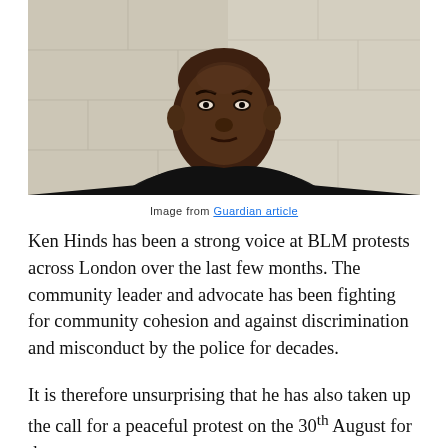[Figure (photo): Photograph of Ken Hinds, a Black man wearing a black shirt, photographed against a light-coloured brick wall]
Image from Guardian article
Ken Hinds has been a strong voice at BLM protests across London over the last few months. The community leader and advocate has been fighting for community cohesion and against discrimination and misconduct by the police for decades.
It is therefore unsurprising that he has also taken up the call for a peaceful protest on the 30th August for the